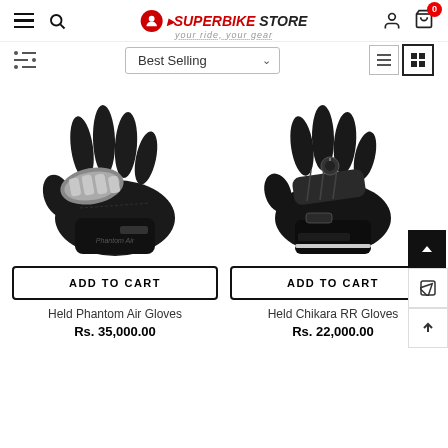Superbike Store - Best Selling navigation header
[Figure (photo): Held Phantom Air Gloves - black motorcycle gloves with silver knuckle protector]
ADD TO CART
Held Phantom Air Gloves
Rs. 35,000.00
[Figure (photo): Held Chikara RR Gloves - black motorcycle gloves with hard knuckle armor]
ADD TO CART
Held Chikara RR Gloves
Rs. 22,000.00